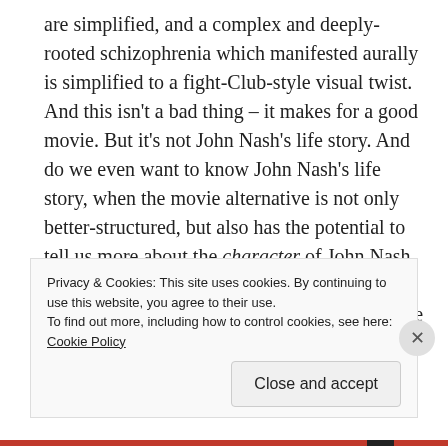are simplified, and a complex and deeply-rooted schizophrenia which manifested aurally is simplified to a fight-Club-style visual twist. And this isn't a bad thing – it makes for a good movie. But it's not John Nash's life story. And do we even want to know John Nash's life story, when the movie alternative is not only better-structured, but also has the potential to tell us more about the character of John Nash than an adherence to the facts could tell us about the real John Nash? Hamlet tells us more about the human condition than a biography of Shakespeare.
Privacy & Cookies: This site uses cookies. By continuing to use this website, you agree to their use.
To find out more, including how to control cookies, see here: Cookie Policy
Close and accept